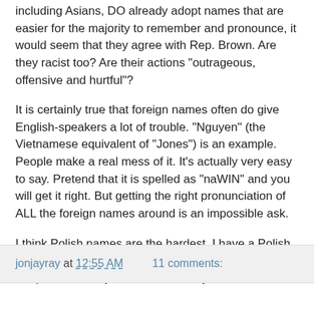including Asians, DO already adopt names that are easier for the majority to remember and pronounce, it would seem that they agree with Rep. Brown. Are they racist too? Are their actions "outrageous, offensive and hurtful"?
It is certainly true that foreign names often do give English-speakers a lot of trouble. "Nguyen" (the Vietnamese equivalent of "Jones") is an example. People make a real mess of it. It's actually very easy to say. Pretend that it is spelled as "naWIN" and you will get it right. But getting the right pronunciation of ALL the foreign names around is an impossible ask.
I think Polish names are the hardest. I have a Polish friend whose surname to this day I can neither spell nor pronounce. I just address him by his first name.
jonjayray at 12:55 AM   11 comments: